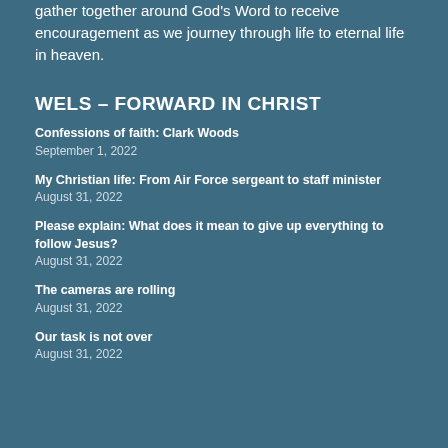gather together around God's Word to receive encouragement as we journey through life to eternal life in heaven.
WELS – FORWARD IN CHRIST
Confessions of faith: Clark Woods
September 1, 2022
My Christian life: From Air Force sergeant to staff minister
August 31, 2022
Please explain: What does it mean to give up everything to follow Jesus?
August 31, 2022
The cameras are rolling
August 31, 2022
Our task is not over
August 31, 2022